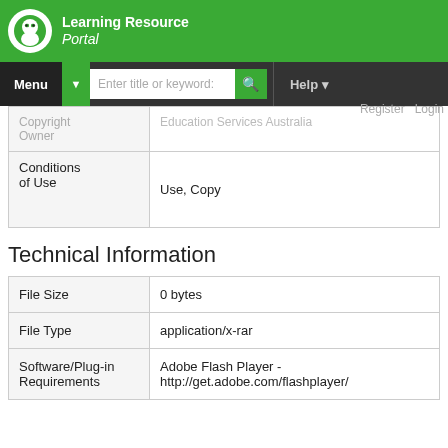Learning Resource Portal
| Field | Value |
| --- | --- |
| Copyright Owner | Education Services Australia |
| Conditions of Use | Use, Copy |
Technical Information
| Field | Value |
| --- | --- |
| File Size | 0 bytes |
| File Type | application/x-rar |
| Software/Plug-in Requirements | Adobe Flash Player - http://get.adobe.com/flashplayer/ |